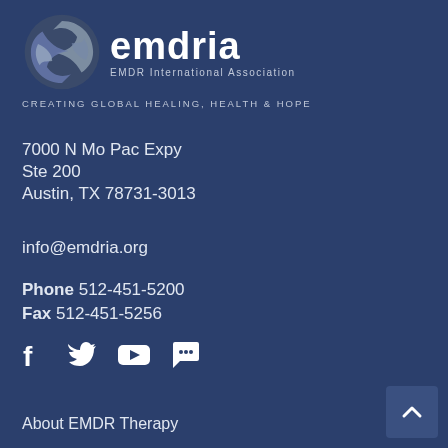[Figure (logo): EMDRIA logo: circular swirl icon in gray/silver tones with 'emdria' text and 'EMDR International Association' subtitle]
CREATING GLOBAL HEALING, HEALTH & HOPE
7000 N Mo Pac Expy
Ste 200
Austin, TX 78731-3013
info@emdria.org
Phone 512-451-5200
Fax 512-451-5256
[Figure (infographic): Social media icons: Facebook, Twitter, YouTube, and chat/message icon]
About EMDR Therapy